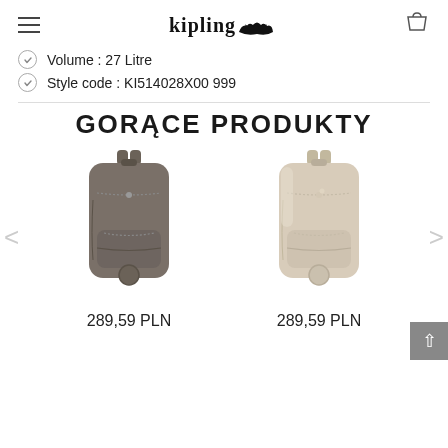kipling (logo with monkey icon) | hamburger menu | cart icon
Volume : 27 Litre
Style code : KI514028X00 999
GORĄCE PRODUKTY
[Figure (photo): Dark grey/taupe Kipling backpack product photo]
289,59 PLN
[Figure (photo): Gold/light metallic Kipling backpack product photo]
289,59 PLN